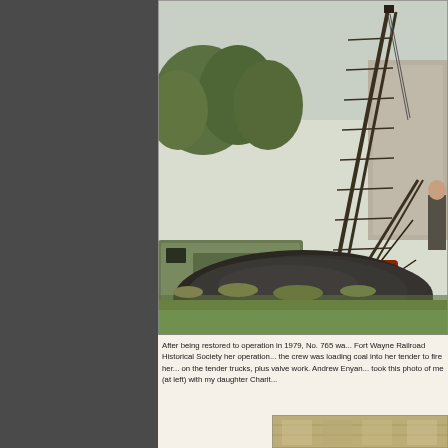[Figure (photo): A large crane lifting or working near a pile of coal or gravel, with a rail freight car visible in the background, set on a grassy area with trees in the distance. The crane is red/rust colored.]
After being restored to operation in 1979, No. 765 wa... Fort Wayne Railroad Historical Society her operation... the crew was loading coal into her tender to fire her... on the tender trucks, plus valve work. Andrew Enyan... took this photo of me (at left) with my daughter Charit...
[Figure (photo): Partial view of a second photograph at the bottom of the page, showing an indoor or covered structure.]